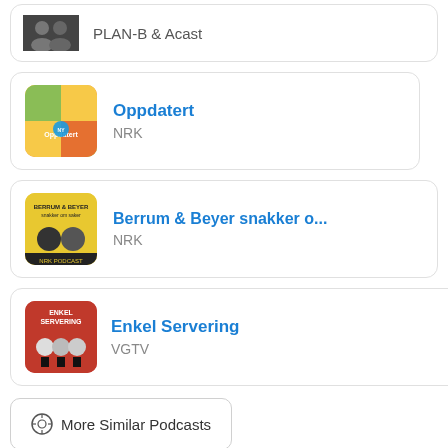PLAN-B & Acast
Oppdatert — NRK
Berrum & Beyer snakker o... — NRK
Enkel Servering — VGTV
More Similar Podcasts
Chart Positions
#319  France | Society & Culture / Places & Travel